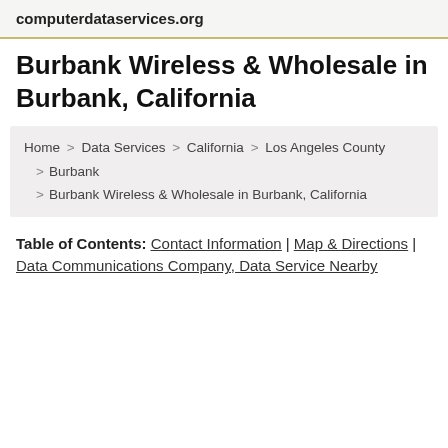computerdataservices.org
Burbank Wireless & Wholesale in Burbank, California
Home > Data Services > California > Los Angeles County > Burbank > Burbank Wireless & Wholesale in Burbank, California
Table of Contents: Contact Information | Map & Directions | Data Communications Company, Data Service Nearby